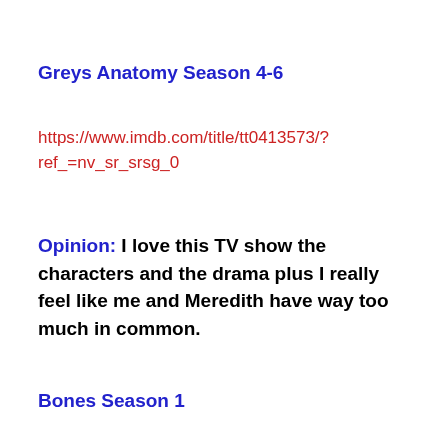Greys Anatomy Season 4-6
https://www.imdb.com/title/tt0413573/?ref_=nv_sr_srsg_0
Opinion: I love this TV show the characters and the drama plus I really feel like me and Meredith have way too much in common.
Bones Season 1